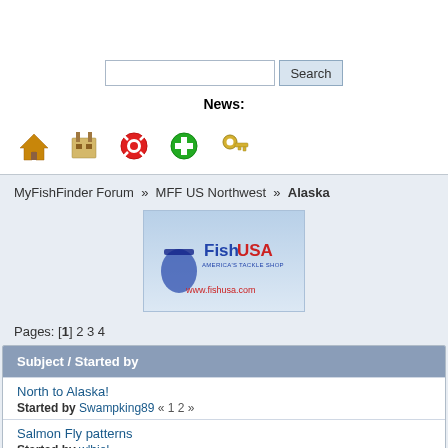[Figure (other): Search bar with text input and Search button]
News:
[Figure (other): Navigation icons: home, portal, help, add, key]
MyFishFinder Forum » MFF US Northwest » Alaska
[Figure (other): FishUSA advertisement banner with www.fishusa.com]
Pages: [1] 2 3 4
| Subject / Started by |
| --- |
| North to Alaska!
Started by Swampking89 « 1 2 » |
| Salmon Fly patterns
Started by wlbiol |